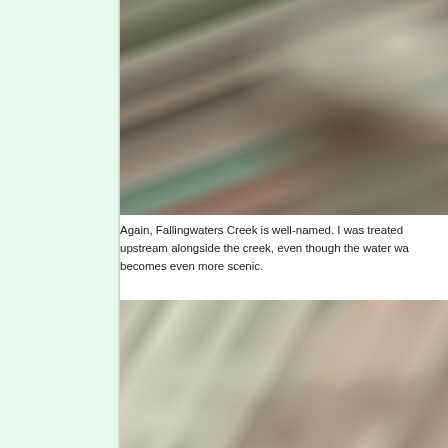[Figure (photo): Photo of Fallingwaters Creek showing rocky stream bed with large boulders, shallow water flowing between rocks, and fallen autumn leaves on the stones.]
Again, Fallingwaters Creek is well-named. I was treated upstream alongside the creek, even though the water wa becomes even more scenic.
[Figure (photo): Photo of large gray boulders and rock formations along the creek, with a fallen log or driftwood visible in the lower right portion of the image.]